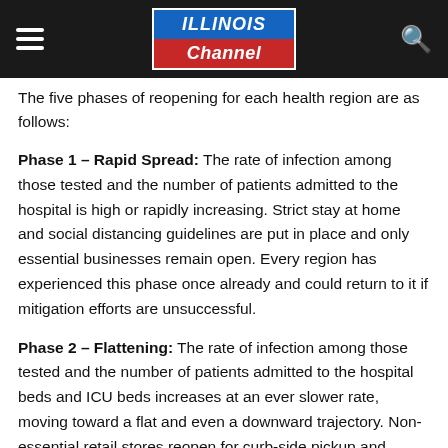Illinois Channel
The five phases of reopening for each health region are as follows:
Phase 1 – Rapid Spread: The rate of infection among those tested and the number of patients admitted to the hospital is high or rapidly increasing. Strict stay at home and social distancing guidelines are put in place and only essential businesses remain open. Every region has experienced this phase once already and could return to it if mitigation efforts are unsuccessful.
Phase 2 – Flattening: The rate of infection among those tested and the number of patients admitted to the hospital beds and ICU beds increases at an ever slower rate, moving toward a flat and even a downward trajectory. Non-essential retail stores reopen for curb-side pickup and delivery. Illinoisans are directed